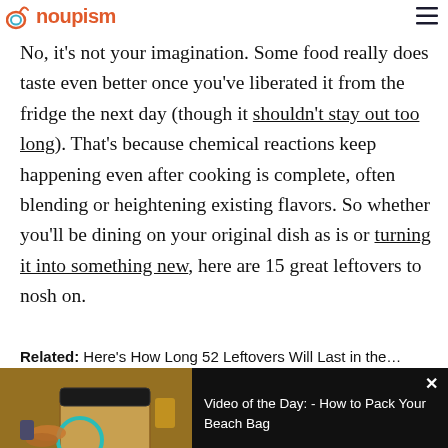Noupism (logo)
No, it's not your imagination. Some food really does taste even better once you've liberated it from the fridge the next day (though it shouldn't stay out too long). That's because chemical reactions keep happening even after cooking is complete, often blending or heightening existing flavors. So whether you'll be dining on your original dish as is or turning it into something new, here are 15 great leftovers to nosh on.
Related: Here's How Long 52 Leftovers Will Last in the…
[Figure (photo): Thumbnail image of beach bag with sandals and items on a wooden surface]
[Figure (screenshot): Video player panel with title: Video of the Day: - How to Pack Your Beach Bag on black background with close button]
[Figure (photo): Bottom strip images: black panel left, pasta dish center, black panel right]